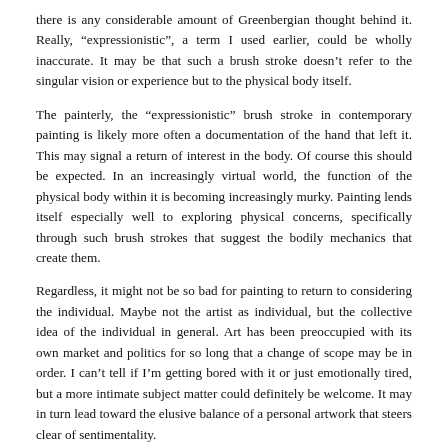there is any considerable amount of Greenbergian thought behind it.  Really, “expressionistic”, a term I used earlier, could be wholly inaccurate.  It may be that such a brush stroke doesn’t refer to the singular vision or experience but to the physical body itself.
The painterly, the “expressionistic” brush stroke in contemporary painting is likely more often a documentation of the hand that left it.  This may signal a return of interest in the body.  Of course this should be expected.  In an increasingly virtual world, the function of the physical body within it is becoming increasingly murky.  Painting lends itself especially well to exploring physical concerns, specifically through such brush strokes that suggest the bodily mechanics that create them.
Regardless, it might not be so bad for painting to return to considering the individual.  Maybe not the artist as individual, but the collective idea of the individual in general.  Art has been preoccupied with its own market and politics for so long that a change of scope may be in order.  I can’t tell if I’m getting bored with it or just emotionally tired, but a more intimate subject matter could definitely be welcome.  It may in turn lead toward the elusive balance of a personal artwork that steers clear of sentimentality.
Another apprehension with contemporary painting that I mentioned earlier is its objectness, a worrying regression to the art object.  The multitude of available pieces, the ease of display and exhibition has always made painting ideal for art collecting, contemporary painting perhaps especially so.  The fear of painting’s descent into a simple economic commodity is understandable.  However, the 2010’s are very different from the 1960’s.
Originally, Conceptualism was partly a reaction to, or at least immediately preceded by an